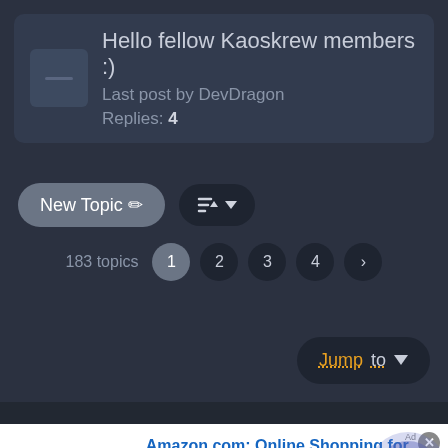Hello fellow Kaoskrew members :)
Last post by DevDragon
Replies: 4
New Topic ✏
183 topics  1  2  3  4  >
Jump to ▼
[Figure (screenshot): Amazon advertisement banner with logo, headline 'Amazon.com: Online Shopping for Everyone', subtext and URL, with a circular blue arrow button]